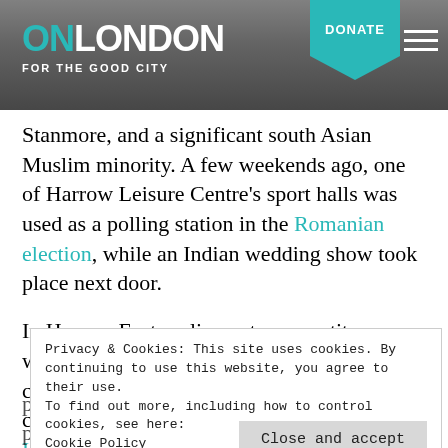ON LONDON — FOR THE GOOD CITY | DONATE
Stanmore, and a significant south Asian Muslim minority. A few weekends ago, one of Harrow Leisure Centre's sport halls was used as a polling station in the Romanian election, while an Indian wedding show took place next door.
In Harrow East parliamentary constituency, where Conservative Bob Blackman commands a slim majority of 1,757, Labour candidate, Harrow councillor and director of Harrow Law Centre Pamela Fitzpatrick speaks passionately about
Privacy & Cookies: This site uses cookies. By continuing to use this website, you agree to their use. To find out more, including how to control cookies, see here: Cookie Policy
Close and accept
poor quality private rented sector, cuts to police